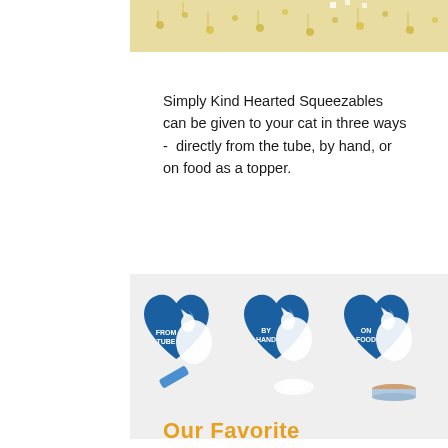[Figure (photo): Top portion of a floral patterned background image, cut off at top of page]
Simply Kind Hearted Squeezables can be given to your cat in three ways -  directly from the tube, by hand, or on food as a topper.
[Figure (illustration): Three blue heart-shaped icons each containing an illustrated cat, labeled FROM TUBE, BY HAND, and ON FOOD respectively, showing the three ways to serve the product]
Our Favorite